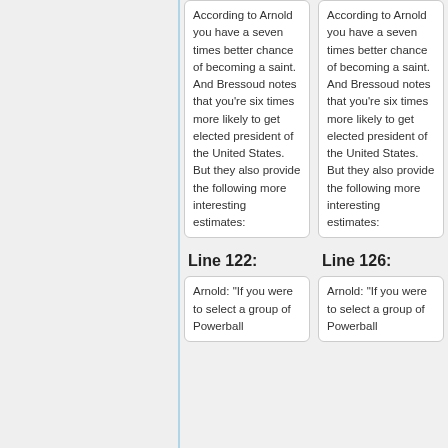According to Arnold you have a seven times better chance of becoming a saint. And Bressoud notes that you're six times more likely to get elected president of the United States. But they also provide the following more interesting estimates:
According to Arnold you have a seven times better chance of becoming a saint. And Bressoud notes that you're six times more likely to get elected president of the United States. But they also provide the following more interesting estimates:
Line 122:
Line 126:
Arnold: "If you were to select a group of Powerball
Arnold: "If you were to select a group of Powerball